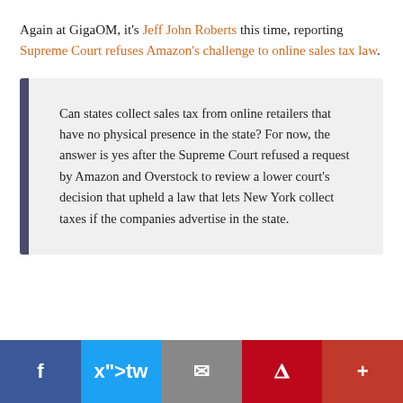Again at GigaOM, it's Jeff John Roberts this time, reporting Supreme Court refuses Amazon's challenge to online sales tax law.
Can states collect sales tax from online retailers that have no physical presence in the state? For now, the answer is yes after the Supreme Court refused a request by Amazon and Overstock to review a lower court's decision that upheld a law that lets New York collect taxes if the companies advertise in the state.